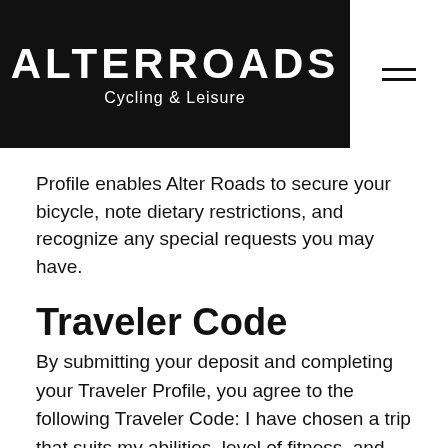ALTERROADS Cycling & Leisure
Profile enables Alter Roads to secure your bicycle, note dietary restrictions, and recognize any special requests you may have.
Traveler Code
By submitting your deposit and completing your Traveler Profile, you agree to the following Traveler Code: I have chosen a trip that suits my abilities, level of fitness, and state of health. I do not have any physical conditions or disabilities that are a hazard to me or other travellers. I have a valid passport and all visas, permits, certificates, and vaccinations required for travel. I will read all pre-trip materials about clothing, medical requirements, and culture-specific etiquette. I will make sure to communicate any special